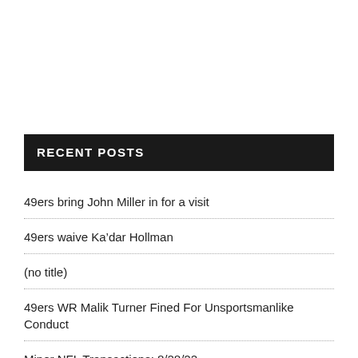RECENT POSTS
49ers bring John Miller in for a visit
49ers waive Ka'dar Hollman
(no title)
49ers WR Malik Turner Fined For Unsportsmanlike Conduct
Minor NFL Transactions: 8/28/22